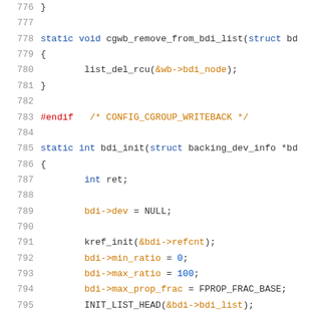[Figure (screenshot): Source code snippet showing C code lines 776-797, including functions cgwb_remove_from_bdi_list and bdi_init with syntax highlighting.]